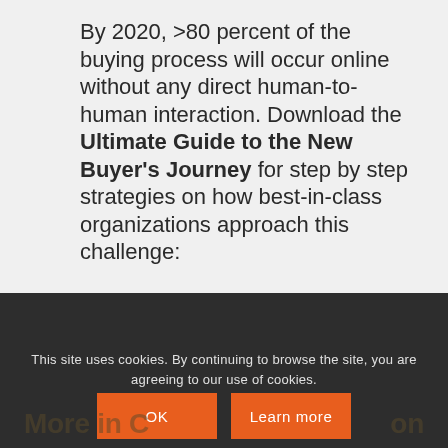By 2020, >80 percent of the buying process will occur online without any direct human-to-human interaction. Download the Ultimate Guide to the New Buyer's Journey for step by step strategies on how best-in-class organizations approach this challenge:
This site uses cookies. By continuing to browse the site, you are agreeing to our use of cookies.
OK
Learn more
More in C…on